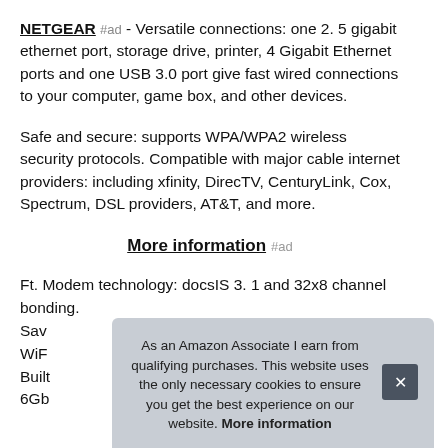NETGEAR #ad - Versatile connections: one 2. 5 gigabit ethernet port, storage drive, printer, 4 Gigabit Ethernet ports and one USB 3.0 port give fast wired connections to your computer, game box, and other devices.
Safe and secure: supports WPA/WPA2 wireless security protocols. Compatible with major cable internet providers: including xfinity, DirecTV, CenturyLink, Cox, Spectrum, DSL providers, AT&T, and more.
More information #ad
Ft. Modem technology: docsIS 3. 1 and 32x8 channel bonding. Sav WiFi Built 6Gb
As an Amazon Associate I earn from qualifying purchases. This website uses the only necessary cookies to ensure you get the best experience on our website. More information